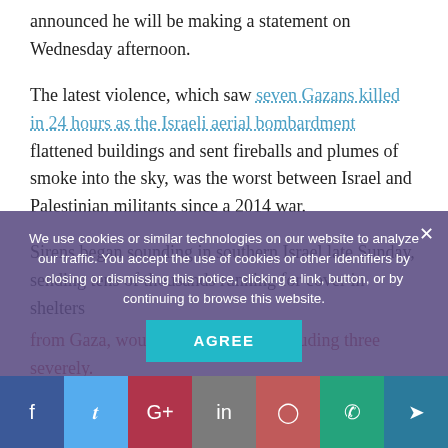announced he will be making a statement on Wednesday afternoon.
The latest violence, which saw seven Gazans killed in 24 hours as the Israeli aerial bombardment flattened buildings and sent fireballs and plumes of smoke into the sky, was the worst between Israel and Palestinian militants since a 2014 war.
Sirens began sounding in southern Israel late Sunday, sending tens of thousands running for cover in shelters ... from Gaza, wounding 27 people, including three severely.
We use cookies or similar technologies on our website to analyze our traffic. You accept the use of cookies or other identifiers by closing or dismissing this notice, clicking a link, button, or by continuing to browse this website.